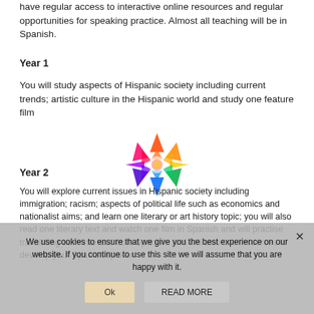have regular access to interactive online resources and regular opportunities for speaking practice. Almost all teaching will be in Spanish.
Year 1
You will study aspects of Hispanic society including current trends; artistic culture in the Hispanic world and study one feature film
[Figure (illustration): Colorful star/snowflake decorative logo made of rainbow-colored triangles arranged in a radial pattern]
Year 2
You will explore current issues in Hispanic society including immigration; racism; aspects of political life such as economics and nationalist aims; and learn one literary or art history topic; you will also read one literary text and watch one film in Spanish and will practise translating both into and from Spanish, and will also use resources to develop your Spanish spoken
We use cookies to ensure that we give you the best experience on our website. If you continue to use this site we will assume that you are happy with it.